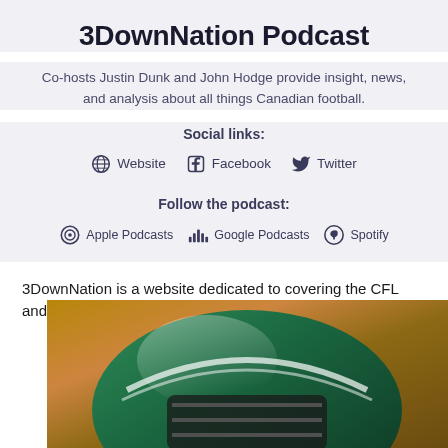3DownNation Podcast
Co-hosts Justin Dunk and John Hodge provide insight, news, and analysis about all things Canadian football.
Social links:
Website  Facebook  Twitter
Follow the podcast:
Apple Podcasts  Google Podcasts  Spotify
3DownNation is a website dedicated to covering the CFL and Canadian football.
[Figure (photo): Close-up photo of a green CFL football helmet, likely Saskatchewan Roughriders, with orange blurred background]